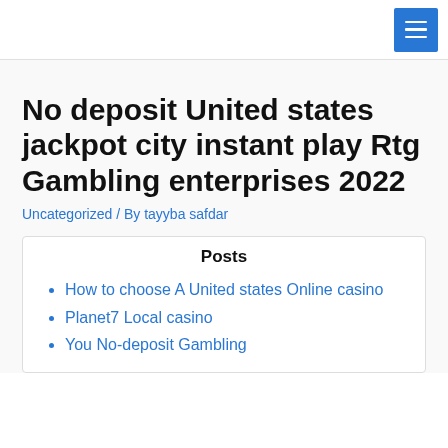No deposit United states jackpot city instant play Rtg Gambling enterprises 2022
Uncategorized / By tayyba safdar
Posts
How to choose A United states Online casino
Planet7 Local casino
You No-deposit Gambling